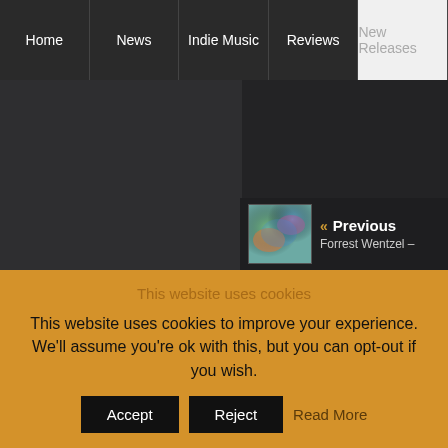Home | News | Indie Music | Reviews | New Releases
[Figure (screenshot): Dark website content area with two panels, left panel darker, right panel very dark, showing a music website layout]
[Figure (screenshot): Previous article navigation showing a colorful album art thumbnail with text '« Previous Forrest Wentzel –']
This website uses cookies
This website uses cookies to improve your experience. We'll assume you're ok with this, but you can opt-out if you wish.
Accept | Reject | Read More